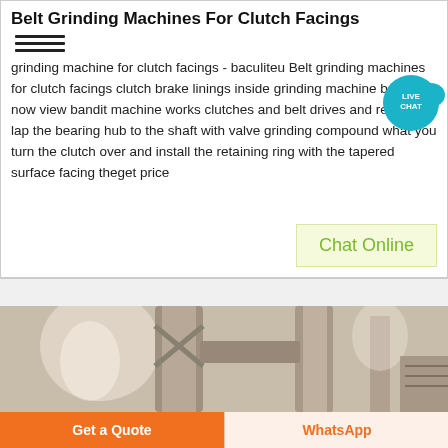Belt Grinding Machines For Clutch Facings
grinding machine for clutch facings - baculiteu Belt grinding machines for clutch facings clutch brake linings inside grinding machine belt ty... now view bandit machine works clutches and belt drives and related lap the bearing hub to the shaft with valve grinding compound what you turn the clutch over and install the retaining ring with the tapered surface facing theget price
[Figure (photo): Industrial machinery with large cylindrical pipes and ductwork in a factory setting, shown in sepia/grayscale tones]
Chat Online
Get a Quote
WhatsApp